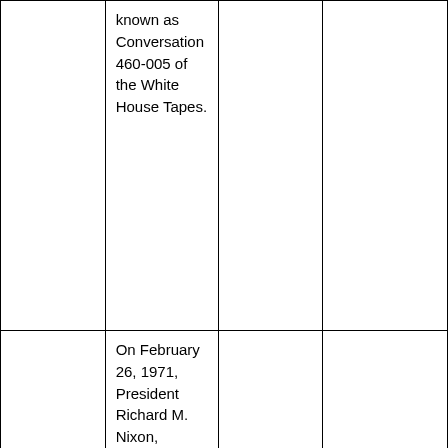|  | known as Conversation 460-005 of the White House Tapes. |  |  |
|  | On February 26, 1971, President Richard M. Nixon, Patricia R. Hitt, Robert E. Hampton, Barbara B. Gunderson, Jeanne |  |  |